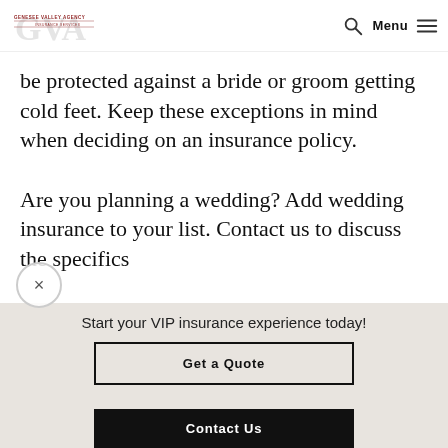Genesee Valley Agency Insurance Services — Menu
be protected against a bride or groom getting cold feet. Keep these exceptions in mind when deciding on an insurance policy.
Are you planning a wedding? Add wedding insurance to your list. Contact us to discuss the specifics
Start your VIP insurance experience today!
Get a Quote
Contact Us